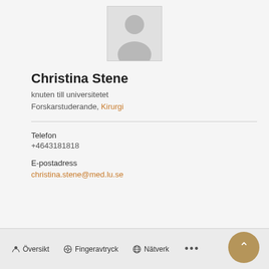[Figure (illustration): Generic person silhouette avatar placeholder in a light gray box]
Christina Stene
knuten till universitetet
Forskarstuderande, Kirurgi
Telefon
+4643181818
E-postadress
christina.stene@med.lu.se
Översikt   Fingeravtryck   Nätverk